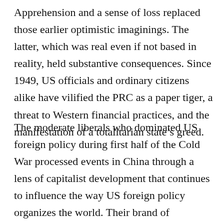Apprehension and a sense of loss replaced those earlier optimistic imaginings. The latter, which was real even if not based in reality, held substantive consequences. Since 1949, US officials and ordinary citizens alike have vilified the PRC as a paper tiger, a threat to Western financial practices, and the manifestation of a totalitarian state’s greed.
The moderate liberals who dominated US foreign policy during first half of the Cold War processed events in China through a lens of capitalist development that continues to influence the way US foreign policy organizes the world. Their brand of internationalism championed global financial networks reinforced by military intervention to